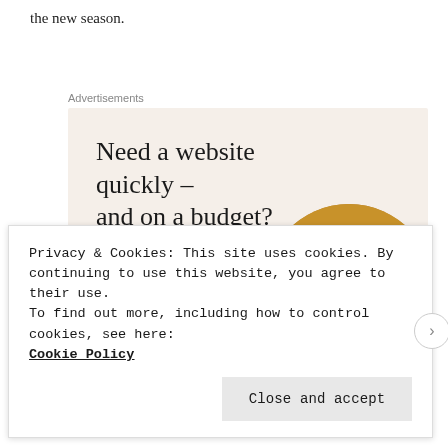the new season.
Advertisements
[Figure (infographic): Advertisement box with beige/cream background. Large serif headline reads 'Need a website quickly – and on a budget?' with subtext 'Let us build it for you', a 'Let's get started' button, and a circular photo of hands typing on a laptop.]
Privacy & Cookies: This site uses cookies. By continuing to use this website, you agree to their use.
To find out more, including how to control cookies, see here: Cookie Policy
Close and accept